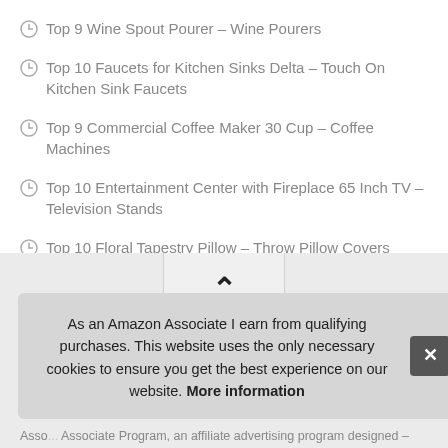Top 9 Wine Spout Pourer – Wine Pourers
Top 10 Faucets for Kitchen Sinks Delta – Touch On Kitchen Sink Faucets
Top 9 Commercial Coffee Maker 30 Cup – Coffee Machines
Top 10 Entertainment Center with Fireplace 65 Inch TV – Television Stands
Top 10 Floral Tapestry Pillow – Throw Pillow Covers
As an Amazon Associate I earn from qualifying purchases. This website uses the only necessary cookies to ensure you get the best experience on our website. More information
Asso... Associate Program, an affiliate advertising program designed –